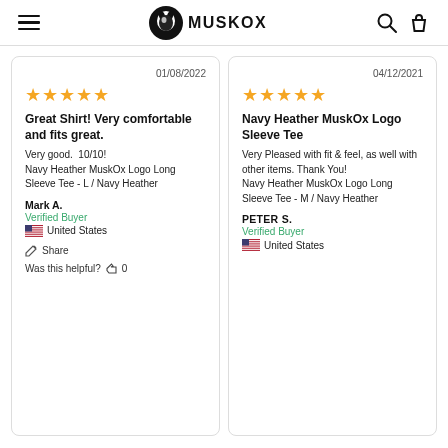MuskOx
01/08/2022
★★★★★
Great Shirt! Very comfortable and fits great.
Very good. 10/10! Navy Heather MuskOx Logo Long Sleeve Tee - L / Navy Heather
Mark A.
Verified Buyer
United States
Share
Was this helpful? 0
04/12/2021
★★★★★
Navy Heather MuskOx Logo Sleeve Tee
Very Pleased with fit & feel, as well with other items. Thank You! Navy Heather MuskOx Logo Long Sleeve Tee - M / Navy Heather
PETER S.
Verified Buyer
United States